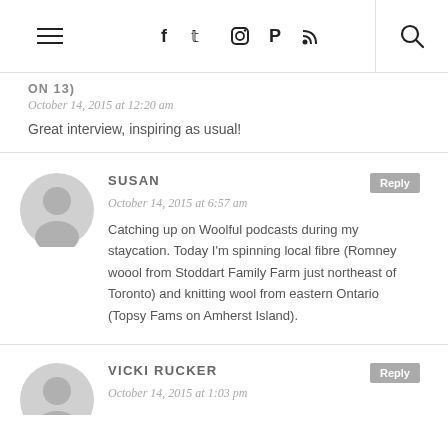Navigation bar with hamburger menu, social icons (Facebook, Twitter, Instagram, Pinterest, RSS), and search icon
ON 13)
October 14, 2015 at 12:20 am
Great interview, inspiring as usual!
SUSAN
October 14, 2015 at 6:57 am
Catching up on Woolful podcasts during my staycation. Today I'm spinning local fibre (Romney woool from Stoddart Family Farm just northeast of Toronto) and knitting wool from eastern Ontario (Topsy Fams on Amherst Island).
VICKI RUCKER
October 14, 2015 at 1:03 pm